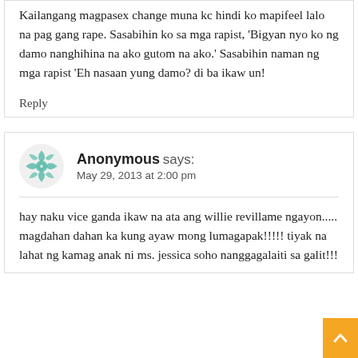Kailangang magpasex change muna kc hindi ko mapifeel lalo na pag gang rape. Sasabihin ko sa mga rapist, 'Bigyan nyo ko ng damo nanghihina na ako gutom na ako.' Sasabihin naman ng mga rapist 'Eh nasaan yung damo? di ba ikaw un!
Reply
Anonymous says:
May 29, 2013 at 2:00 pm
hay naku vice ganda ikaw na ata ang willie revillame ngayon..... magdahan dahan ka kung ayaw mong lumagapak!!!!! tiyak na lahat ng kamag anak ni ms. jessica soho nanggagalaiti sa galit!!!